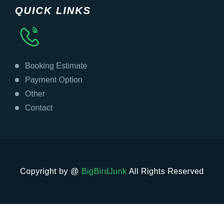QUICK LINKS
[Figure (illustration): Green phone icon with signal waves indicating a telephone contact symbol]
Booking Estimate
Payment Option
Other
Contact
Copyright by @ BigBirdJunk All Rights Reserved